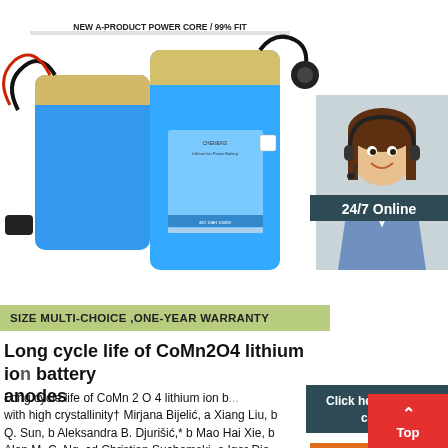[Figure (photo): Blue lithium ion battery packs with wires/connectors on white background, with text label 'NEW A-PRODUCT POWER CORE / 99% FIT' at top]
[Figure (photo): Customer service representative with headset smiling, with '24/7 Online' header in dark teal box, 'Click here for free chat!' overlay, and orange QUOTATION button]
SIZE MULTI-CHOICE ,ONE-YEAR WARRANTY
Long cycle life of CoMn2O4 lithium ion battery anodes
Long cycle life of CoMn 2 O 4 lithium ion b... with high crystallinity† Mirjana Bijelić, a Xiang Liu, b Q. Sun, b Aleksandra B. Djurišić,* b Mao Hai Xie, b Alan M. C. Ng, cd Christian Suchomski, e Igor Dj... Željko Skoko a and Jasminka Popović * f
[Figure (other): Red and white 'Top' scroll-to-top button with upward arrow in bottom right corner]